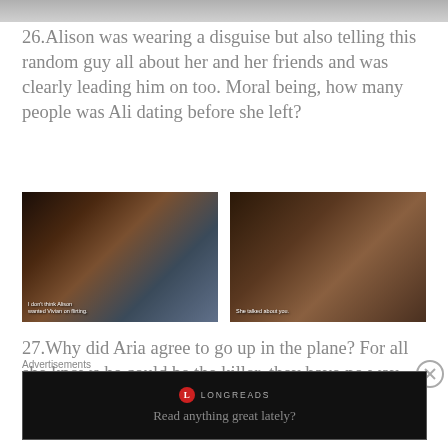[Figure (photo): Partial top edge of a photo, cropped]
26.Alison was wearing a disguise but also telling this random guy all about her and her friends and was clearly leading him on too. Moral being, how many people was Ali dating before she left?
[Figure (photo): Two TV show screenshots side by side. Left: dark-haired woman with subtitle 'I don't think Alison wanted Vivian on flirting.' Right: young man with subtitle 'She talked about you.']
27.Why did Aria agree to go up in the plane? For all she knows he could be the killer, they have no way to prove his story. I wish he had been 'A'
Advertisements
[Figure (screenshot): Longreads advertisement banner with text 'Read anything great lately?']